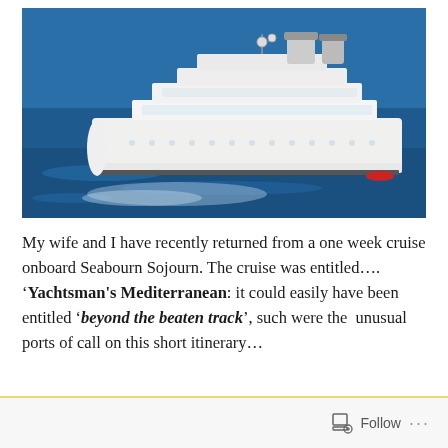[Figure (photo): Aerial/elevated view of a large white cruise ship (Seabourn Sojourn) sailing on deep blue Mediterranean sea water.]
My wife and I have recently returned from a one week cruise onboard Seabourn Sojourn. The cruise was entitled…. 'Yachtsman's Mediterranean: it could easily have been entitled 'beyond the beaten track', such were the  unusual ports of call on this short itinerary…
Follow ···